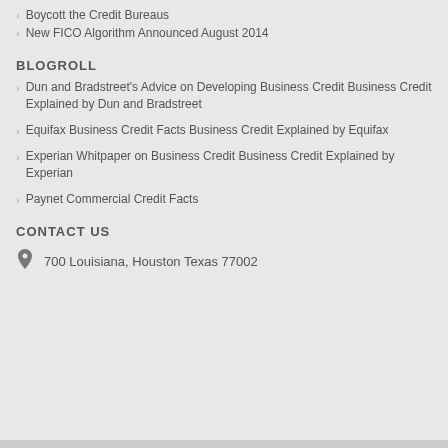Boycott the Credit Bureaus
New FICO Algorithm Announced August 2014
BLOGROLL
Dun and Bradstreet's Advice on Developing Business Credit Business Credit Explained by Dun and Bradstreet
Equifax Business Credit Facts Business Credit Explained by Equifax
Experian Whitpaper on Business Credit Business Credit Explained by Experian
Paynet Commercial Credit Facts
CONTACT US
700 Louisiana, Houston Texas 77002